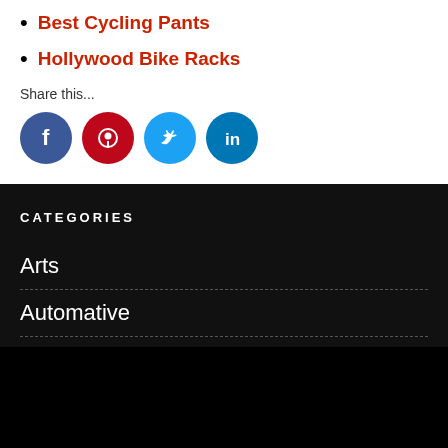Best Cycling Pants
Hollywood Bike Racks
Share this...
[Figure (infographic): Social share icons: Facebook (blue), Pinterest (red), Twitter (light blue), LinkedIn (dark blue)]
CATEGORIES
Arts
Automative